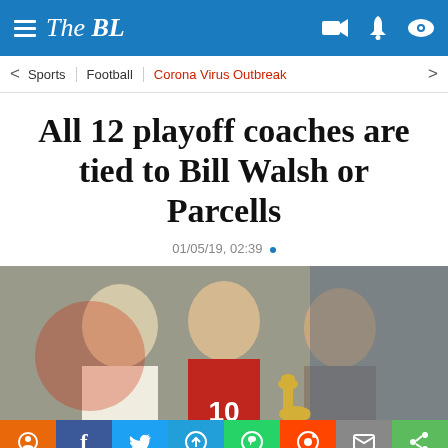The BL
Sports | Football | Corona Virus Outbreak
All 12 playoff coaches are tied to Bill Walsh or Parcells
01/05/19, 02:39 •
[Figure (photo): Three men posing together, one in a football jersey with number 10, one holding the Super Bowl trophy]